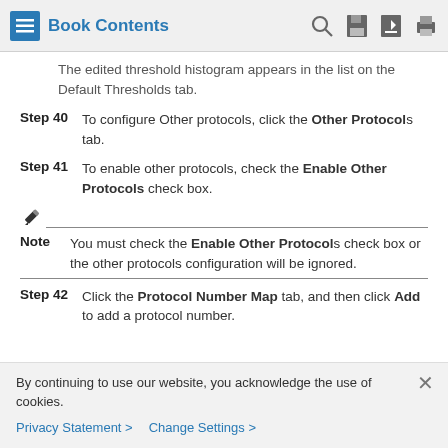Book Contents
The edited threshold histogram appears in the list on the Default Thresholds tab.
Step 40 To configure Other protocols, click the Other Protocols tab.
Step 41 To enable other protocols, check the Enable Other Protocols check box.
Note You must check the Enable Other Protocols check box or the other protocols configuration will be ignored.
Step 42 Click the Protocol Number Map tab, and then click Add to add a protocol number.
By continuing to use our website, you acknowledge the use of cookies.
Privacy Statement > Change Settings >